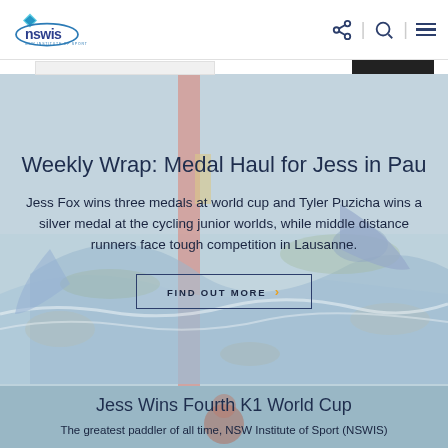NSWIS - NSW Institute of Sport
Weekly Wrap: Medal Haul for Jess in Pau
Jess Fox wins three medals at world cup and Tyler Puzicha wins a silver medal at the cycling junior worlds, while middle distance runners face tough competition in Lausanne.
FIND OUT MORE ›
Jess Wins Fourth K1 World Cup
The greatest paddler of all time, NSW Institute of Sport (NSWIS)